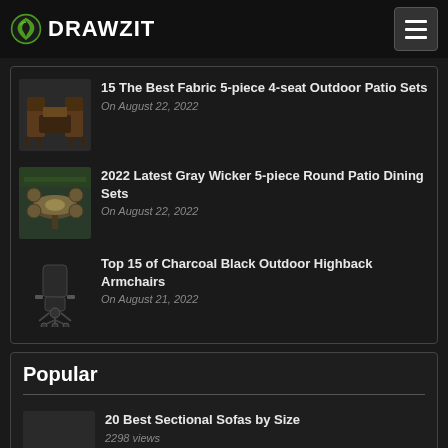DRAWZIT
15 The Best Fabric 5-piece 4-seat Outdoor Patio Sets — On August 22, 2022
2022 Latest Gray Wicker 5-piece Round Patio Dining Sets — On August 22, 2022
Top 15 of Charcoal Black Outdoor Highback Armchairs — On August 21, 2022
Popular
20 Best Sectional Sofas by Size — 2298 views
20 Best Collection of Sectional Sofas at Badcock — 2295 views